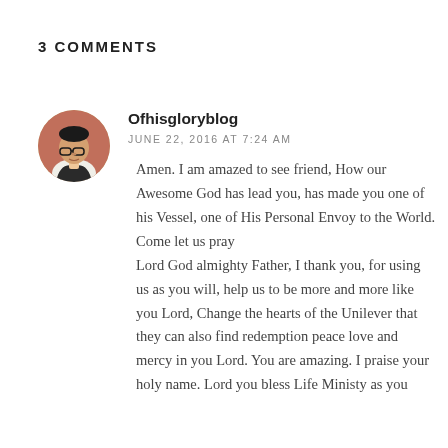3 COMMENTS
[Figure (photo): Circular avatar photo of a man wearing glasses and a suit with a red background]
Ofhisgloryblog
JUNE 22, 2016 AT 7:24 AM
Amen. I am amazed to see friend, How our Awesome God has lead you, has made you one of his Vessel, one of His Personal Envoy to the World. Come let us pray
Lord God almighty Father, I thank you, for using us as you will, help us to be more and more like you Lord, Change the hearts of the Unilever that they can also find redemption peace love and mercy in you Lord. You are amazing. I praise your holy name. Lord you bless Life Ministy as you